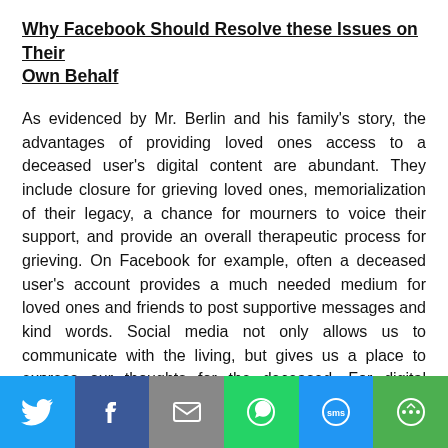Why Facebook Should Resolve these Issues on Their Own Behalf
As evidenced by Mr. Berlin and his family's story, the advantages of providing loved ones access to a deceased user's digital content are abundant. They include closure for grieving loved ones, memorialization of their legacy, a chance for mourners to voice their support, and provide an overall therapeutic process for grieving. On Facebook for example, often a deceased user's account provides a much needed medium for loved ones and friends to post supportive messages and kind words. Social media not only allows us to communicate with the living, but gives us a place to express our thoughts for the deceased. For digital content providers such as Facebook and Twitter, this only adds to the user generated content, and brings even more
[Figure (infographic): Social sharing bar with Twitter (blue), Facebook (dark blue), Email (gray), WhatsApp (green), SMS (light blue), and More (green) buttons]